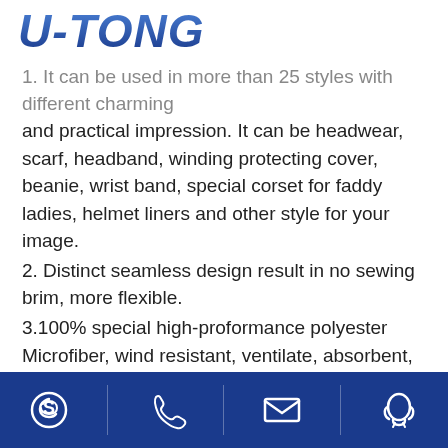U-TONG
1. It can be used in more than 25 styles with different charming and practical impression. It can be headwear, scarf, headband, winding protecting cover, beanie, wrist band, special corset for faddy ladies, helmet liners and other style for your image.
2. Distinct seamless design result in no sewing brim, more flexible.
3.100% special high-proformance polyester Microfiber, wind resistant, ventilate, absorbent, fast-dry, soft and flexible.
4. Washed by machine, no faded, no iron. Size: 25*50cm, length can be OEM.
5. More than 400 designs for your selection.
6. Its suitable for running, walking, mountaineering, rock climbing, skating, tennis ball, motorbike, beach cruiser, and bicycles etc. The outdoor activities. It also can promote your company and brand. Especially for waving and cheering in the big scale sports
Skype | Phone | Email | QQ icons